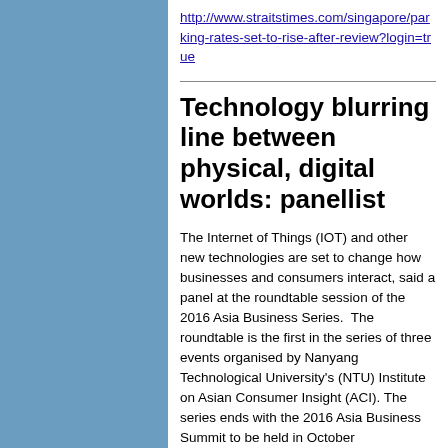http://www.straitstimes.com/singapore/parking-rates-set-to-rise-after-review?login=true
Technology blurring line between physical, digital worlds: panellist
The Internet of Things (IOT) and other new technologies are set to change how businesses and consumers interact, said a panel at the roundtable session of the 2016 Asia Business Series.  The roundtable is the first in the series of three events organised by Nanyang Technological University's (NTU) Institute on Asian Consumer Insight (ACI). The series ends with the 2016 Asia Business Summit to be held in October